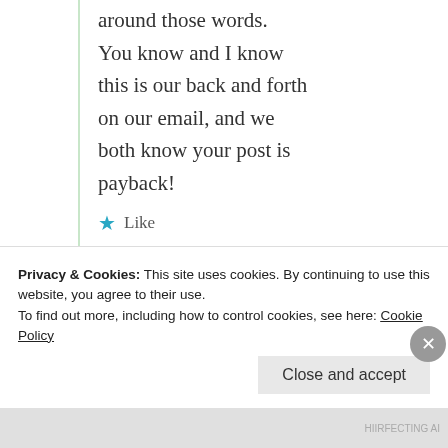around those words.
You know and I know this is our back and forth on our email, and we both know your post is payback!
★ Like
Suma Reddy
11th Jul 2021 at 7:33 am
Privacy & Cookies: This site uses cookies. By continuing to use this website, you agree to their use.
To find out more, including how to control cookies, see here: Cookie Policy
Close and accept